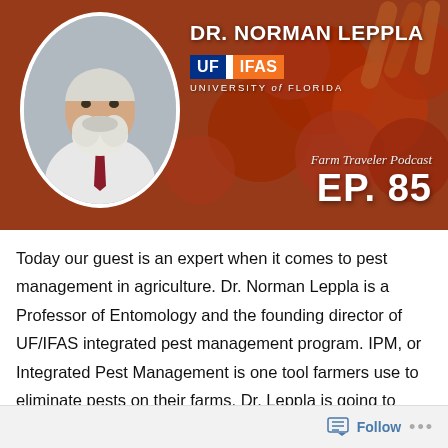[Figure (photo): Podcast episode cover image showing Dr. Norman Leppla with a circular portrait photo on the left over a background of produce (tomatoes, carrots). Includes UF/IFAS University of Florida logo and text 'Farm Traveler Podcast EP. 85'.]
Today our guest is an expert when it comes to pest management in agriculture. Dr. Norman Leppla is a Professor of Entomology and the founding director of UF/IFAS integrated pest management program. IPM, or Integrated Pest Management is one tool farmers use to eliminate pests on their farms. Dr. Leppla is going to explain the process of IPM, how chemical sprays are only one small part of the equation, what consumers should know about pesticides, and how these